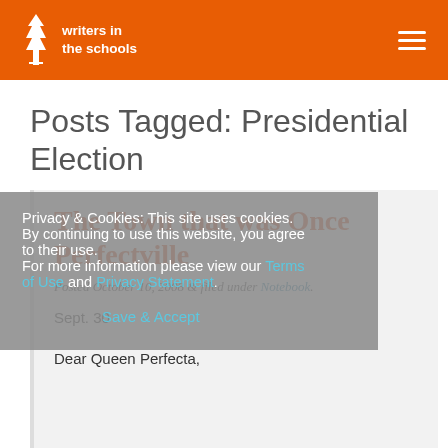writers in the schools
Posts Tagged: Presidential Election
[Figure (other): Article card with title 'The Town that was Once Perfectville']
Posted October 10, 2008 & filed under Notebook.
Sept. 30
Dear Queen Perfecta,
Privacy & Cookies: This site uses cookies. By continuing to use this website, you agree to their use. For more information please view our Terms of Use and Privacy Statement.
Save & Accept